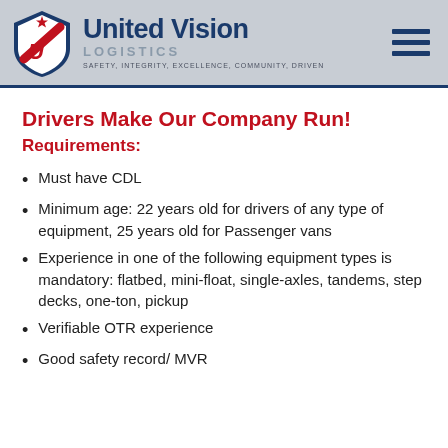United Vision Logistics – SAFETY, INTEGRITY, EXCELLENCE, COMMUNITY, DRIVEN
Drivers Make Our Company Run!
Requirements:
Must have CDL
Minimum age: 22 years old for drivers of any type of equipment, 25 years old for Passenger vans
Experience in one of the following equipment types is mandatory: flatbed, mini-float, single-axles, tandems, step decks, one-ton, pickup
Verifiable OTR experience
Good safety record/ MVR